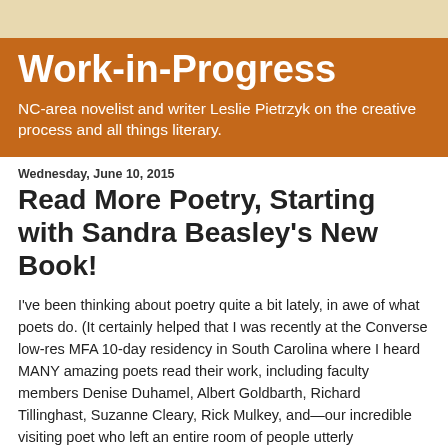Work-in-Progress
NC-area novelist and writer Leslie Pietrzyk on the creative process and all things literary.
Wednesday, June 10, 2015
Read More Poetry, Starting with Sandra Beasley's New Book!
I've been thinking about poetry quite a bit lately, in awe of what poets do. (It certainly helped that I was recently at the Converse low-res MFA 10-day residency in South Carolina where I heard MANY amazing poets read their work, including faculty members Denise Duhamel, Albert Goldbarth, Richard Tillinghast, Suzanne Cleary, Rick Mulkey, and—our incredible visiting poet who left an entire room of people utterly mesmerized—Yona Harvey.)
Closer to home, on Sunday I went to Politics & Prose to see